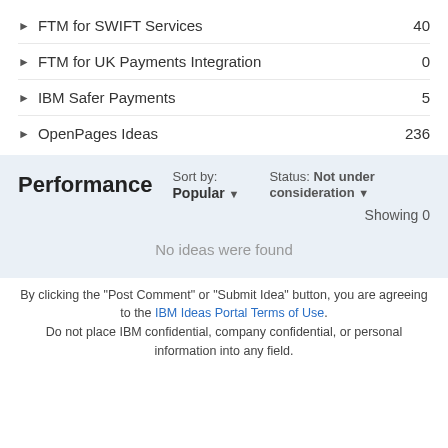▶ FTM for SWIFT Services    40
▶ FTM for UK Payments Integration    0
▶ IBM Safer Payments    5
▶ OpenPages Ideas    236
Performance
Sort by: Popular ▾   Status: Not under consideration ▾
Showing 0
No ideas were found
By clicking the "Post Comment" or "Submit Idea" button, you are agreeing to the IBM Ideas Portal Terms of Use. Do not place IBM confidential, company confidential, or personal information into any field.